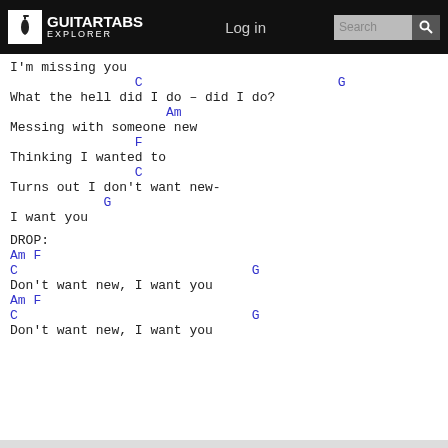GUITARTABS EXPLORER  Log in  Search
I'm missing you
C                         G
What the hell did I do – did I do?
Am
Messing with someone new
F
Thinking I wanted to
C
Turns out I don't want new-
G
I want you
DROP:
Am F
C                              G
Don't want new, I want you
Am F
C                              G
Don't want new, I want you